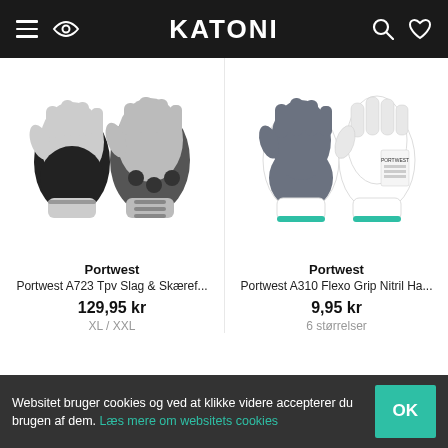KATONI
[Figure (photo): Portwest A723 impact and cut-resistant gloves, black and grey, shown front and back]
Portwest
Portwest A723 Tpv Slag & Skæref...
129,95 kr
XL / XXL
[Figure (photo): Portwest A310 Flexo Grip Nitrile gloves, grey and white with green cuff, shown front and back]
Portwest
Portwest A310 Flexo Grip Nitril Ha...
9,95 kr
6 størrelser
Websitet bruger cookies og ved at klikke videre accepterer du brugen af dem. Læs mere om websitets cookies